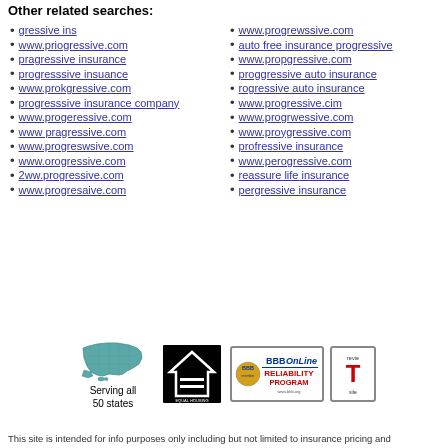Other related searches:
gressive ins
www.priogressive.com
pragressive insurance
progresssive insuance
www.prokgressive.com
progresssive insurance company
www.progeressive.com
www pragressive.com
www.progreswsive.com
www.orogressive.com
2ww.progressive.com
www.progresaive.com
www.progrewssive.com
auto free insurance progressive
www.propgressive.com
proggressive auto insurance
rogressive auto insurance
www.progressive.cim
www.progrwessive.com
www.proygressive.com
profressive insurance
www.perogressive.com
reassure life insurance
pergressive insurance
[Figure (infographic): Footer logos: Serving all 50 states map, Equal Housing Opportunity logo, BBBOnLine Reliability Program logo, TRUSTe site logo]
This site is intended for info purposes only including but not limited to insurance pricing and